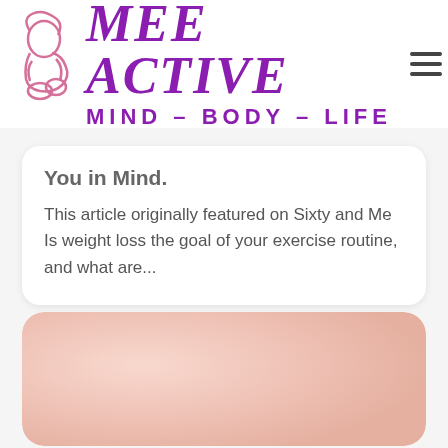MEE ACTIVE MIND – BODY – LIFE
You in Mind.
This article originally featured on Sixty and Me Is weight loss the goal of your exercise routine, and what are...
[Figure (photo): Pink/peach gradient rounded rectangle card placeholder image]